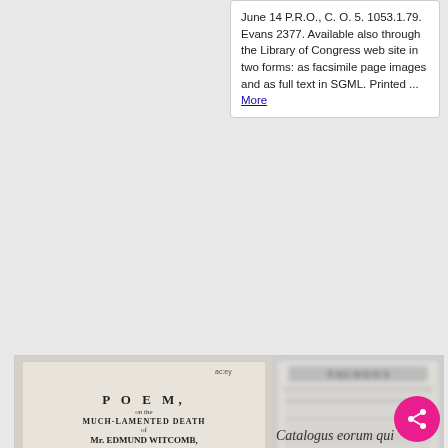June 14 P.R.O., C. O. 5. 1053.1.79. Evans 2377. Available also through the Library of Congress web site in two forms: as facsimile page images and as full text in SGML. Printed ... More
[Figure (photo): Scanned broadside poem titled 'A POEM on the MUCH-LAMENTED DEATH of Mr. EDMUND WITCOMB, Who Died May 26, 1741, in the 41st year of his Age. By John Cale.' with two columns of verse text.]
[Figure (photo): Blurred scan of a historical document that appears to be a table or list, possibly 'Catalogus eorum qui' — a Latin catalogue or register.]
Catalogus eorum qui